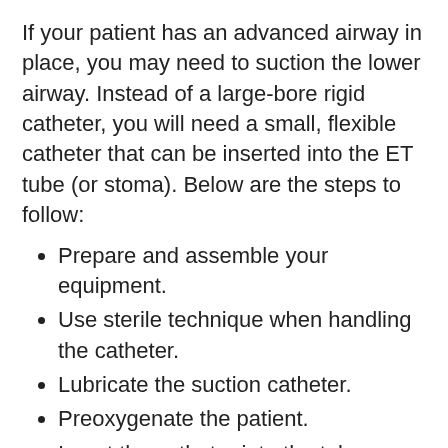If your patient has an advanced airway in place, you may need to suction the lower airway. Instead of a large-bore rigid catheter, you will need a small, flexible catheter that can be inserted into the ET tube (or stoma). Below are the steps to follow:
Prepare and assemble your equipment.
Use sterile technique when handling the catheter.
Lubricate the suction catheter.
Preoxygenate the patient.
Insert the catheter into the tube or stoma until the patient coughs.
Apply suction while rotating the catheter as you slowly withdraw it from the airway.
Monitor the patient's vital signs, especially the